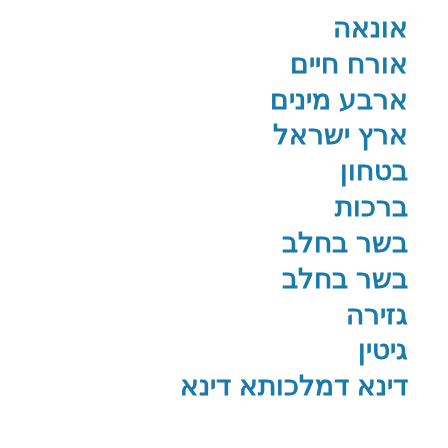אונאה
אורח חיים
ארבע מינים
ארץ ישראל
בטחון
ברכות
בשר בחלב
בשר בחלב
גזירה
גיטין
דינא דמלכותא דינא